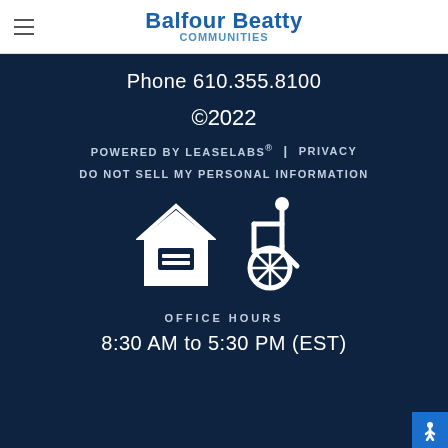Balfour Beatty Communities
Phone 610.355.8100
©2022
POWERED BY LEASELABS® | PRIVACY
DO NOT SELL MY PERSONAL INFORMATION
[Figure (illustration): Equal Housing Opportunity logo (house with equal sign) and wheelchair accessibility icon, both in white on dark background]
OFFICE HOURS
8:30 AM to 5:30 PM (EST)